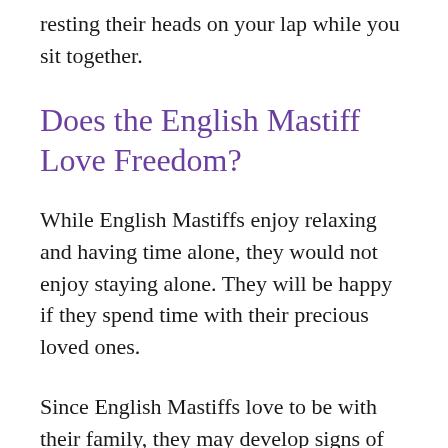resting their heads on your lap while you sit together.
Does the English Mastiff Love Freedom?
While English Mastiffs enjoy relaxing and having time alone, they would not enjoy staying alone. They will be happy if they spend time with their precious loved ones.
Since English Mastiffs love to be with their family, they may develop signs of